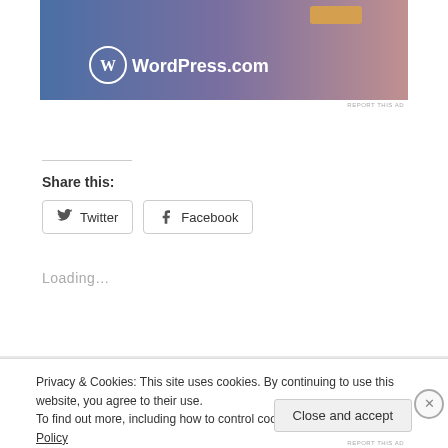[Figure (screenshot): WordPress.com advertisement banner with gradient blue-pink background and WordPress logo]
REPORT THIS AD
Share this:
Twitter
Facebook
Loading...
Privacy & Cookies: This site uses cookies. By continuing to use this website, you agree to their use.
To find out more, including how to control cookies, see here: Cookie Policy
Close and accept